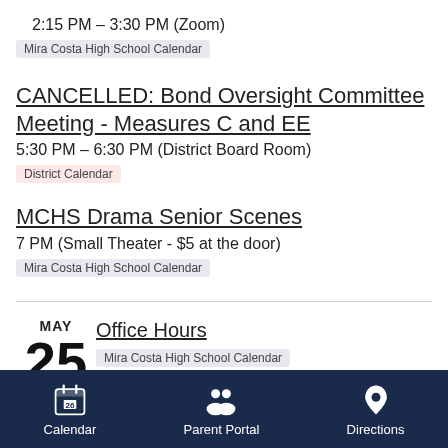2:15 PM – 3:30 PM (Zoom)
Mira Costa High School Calendar
CANCELLED: Bond Oversight Committee Meeting - Measures C and EE
5:30 PM – 6:30 PM (District Board Room)
District Calendar
MCHS Drama Senior Scenes
7 PM (Small Theater - $5 at the door)
Mira Costa High School Calendar
MAY 25
Office Hours
Mira Costa High School Calendar
ASB Dodgeball Tournament
Calendar   Parent Portal   Directions